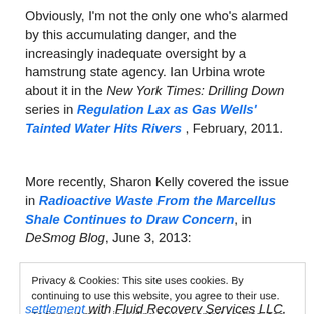Obviously, I'm not the only one who's alarmed by this accumulating danger, and the increasingly inadequate oversight by a hamstrung state agency. Ian Urbina wrote about it in the New York Times: Drilling Down series in Regulation Lax as Gas Wells' Tainted Water Hits Rivers , February, 2011.
More recently, Sharon Kelly covered the issue in Radioactive Waste From the Marcellus Shale Continues to Draw Concern, in DeSmog Blog, June 3, 2013:
Privacy & Cookies: This site uses cookies. By continuing to use this website, you agree to their use.
To find out more, including how to control cookies, see here: Cookie Policy
[Close and accept]
settlement with Fluid Recovery Services LLC, an industrial